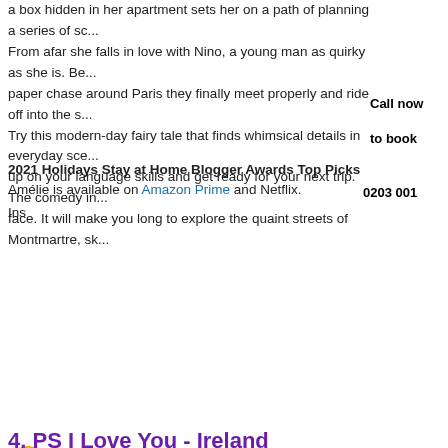a box hidden in her apartment sets her on a path of planning a series of sc... From afar she falls in love with Nino, a young man as quirky as she is. Be... paper chase around Paris they finally meet properly and ride off into the s... Try this modern-day fairy tale that finds whimsical details in everyday sce... up on your language skills and get ready for your next trip. The comedy in... face. It will make you long to explore the quaint streets of Montmartre, sk...
Call now
to book
0203 001
2021 Holidays Stay at Home Blogger Awards Top Picks
Amélie is available on Amazon Prime and Netflix.
Ins
[Figure (screenshot): YouTube video embed showing 'Amélie (2001) Official Trailer 1 - Audrey Tauto...' from Classic Trailers channel. The video thumbnail shows large text 'CLASSIC TRAILER' on a dark background. Footer shows 'Watch on YouTube'.]
4. PS I Love You - Ireland